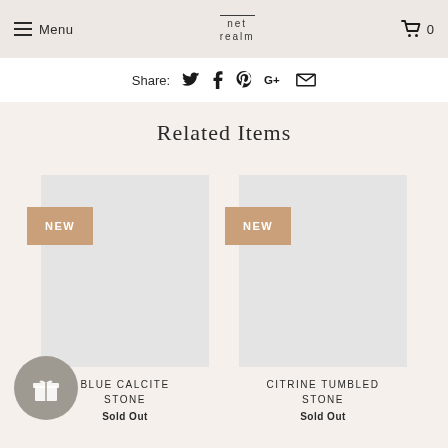Menu | net realm | 0
Share:
Related Items
[Figure (photo): Product image placeholder for Blue Calcite Stone with NEW badge]
BLUE CALCITE STONE
Sold Out
[Figure (photo): Product image placeholder for Citrine Tumbled Stone with NEW badge]
CITRINE TUMBLED STONE
Sold Out